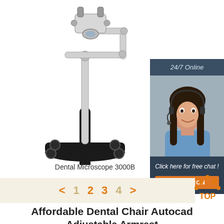[Figure (photo): Dental Microscope 3000B on a wheeled stand with articulated arm and optics head, white/silver finish with black base]
Dental Microscope 3000B
[Figure (infographic): 24/7 Online chat widget showing a smiling female customer service representative wearing a headset, with 'Click here for free chat!' text and an orange QUOTATION button]
[Figure (infographic): Pagination bar showing < 1 2 3 4 > navigation on a tan/beige background, with a TOP button (orange triangle dots icon) on the right]
Affordable Dental Chair Autocad Adjustable Armrest